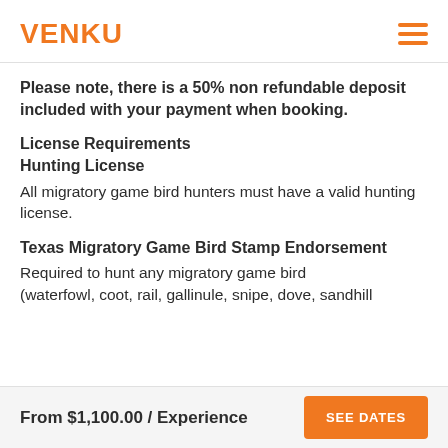VENKU
Please note, there is a 50% non refundable deposit included with your payment when booking.
License Requirements
Hunting License
All migratory game bird hunters must have a valid hunting license.
Texas Migratory Game Bird Stamp Endorsement
Required to hunt any migratory game bird (waterfowl, coot, rail, gallinule, snipe, dove, sandhill
From $1,100.00 / Experience  SEE DATES